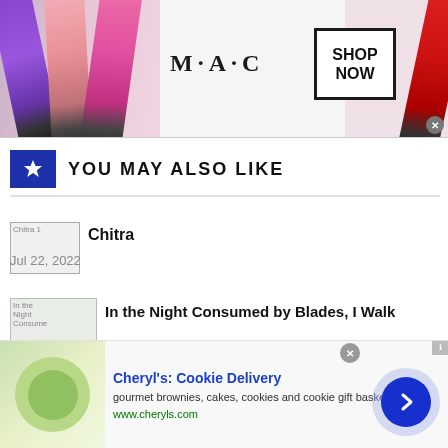[Figure (screenshot): MAC Cosmetics banner advertisement showing lipsticks on left and right sides, MAC logo in center, and SHOP NOW box]
YOU MAY ALSO LIKE
[Figure (photo): Broken thumbnail image labeled Chitra 1]
Chitra
Jul 22, 2022
[Figure (photo): Broken thumbnail image labeled In the Night Consume]
In the Night Consumed by Blades, I Walk
Aug 30, 2022
[Figure (screenshot): Cheryl's Cookie Delivery advertisement with food image, title, description and website URL]